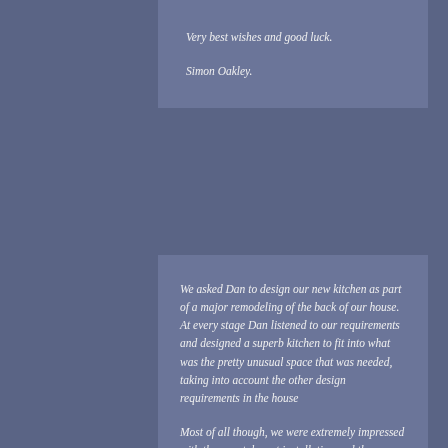Very best wishes and good luck.

Simon Oakley.
We asked Dan to design our new kitchen as part of a major remodeling of the back of our house. At every stage Dan listened to our requirements and designed a superb kitchen to fit into what was the pretty unusual space that was needed, taking into account the other design requirements in the house

Most of all though, we were extremely impressed with the care taken at installation and the exceptional quality of the work carried out by his team. We really felt that the Britten team were the only contractors to care about us, the client, rather than just trying to get the job done to fit in around any other commitments they may have. Pete the fitter on our project was a